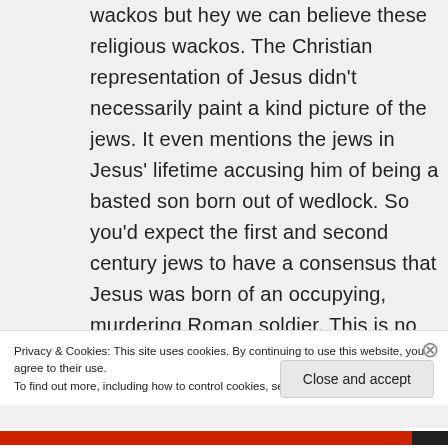wackos but hey we can believe these religious wackos. The Christian representation of Jesus didn't necessarily paint a kind picture of the jews. It even mentions the jews in Jesus' lifetime accusing him of being a basted son born out of wedlock. So you'd expect the first and second century jews to have a consensus that Jesus was born of an occupying, murdering Roman soldier. This is no perfect evidence that the Jewish
Privacy & Cookies: This site uses cookies. By continuing to use this website, you agree to their use.
To find out more, including how to control cookies, see here: Cookie Policy
Close and accept